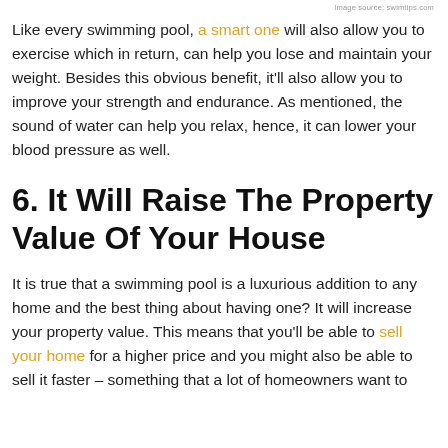Image source: swimtips.com
Like every swimming pool, a smart one will also allow you to exercise which in return, can help you lose and maintain your weight. Besides this obvious benefit, it'll also allow you to improve your strength and endurance. As mentioned, the sound of water can help you relax, hence, it can lower your blood pressure as well.
6. It Will Raise The Property Value Of Your House
It is true that a swimming pool is a luxurious addition to any home and the best thing about having one? It will increase your property value. This means that you'll be able to sell your home for a higher price and you might also be able to sell it faster – something that a lot of homeowners want to